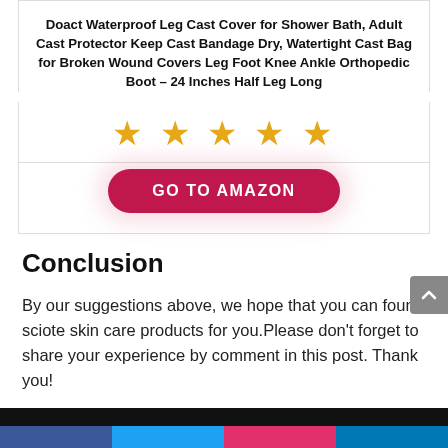Doact Waterproof Leg Cast Cover for Shower Bath, Adult Cast Protector Keep Cast Bandage Dry, Watertight Cast Bag for Broken Wound Covers Leg Foot Knee Ankle Orthopedic Boot – 24 Inches Half Leg Long
[Figure (other): Five gold/orange star rating icons]
[Figure (other): GO TO AMAZON button - red pill-shaped button with white bold text]
Conclusion
By our suggestions above, we hope that you can found sciote skin care products for you.Please don't forget to share your experience by comment in this post. Thank you!
[Figure (other): Bottom black bar and social media share buttons (Facebook, Twitter, Pinterest, LinkedIn)]